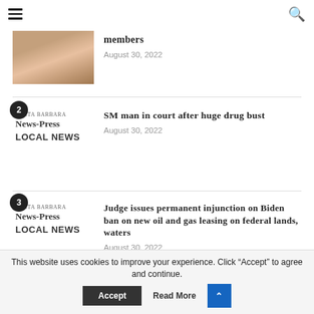≡  🔍
[Figure (photo): Partial photo of a woman with reddish-brown hair]
members
August 30, 2022
[Figure (logo): Santa Barbara News-Press logo with LOCAL NEWS label, numbered 2]
SM man in court after huge drug bust
August 30, 2022
[Figure (logo): Santa Barbara News-Press logo with LOCAL NEWS label, numbered 3]
Judge issues permanent injunction on Biden ban on new oil and gas leasing on federal lands, waters
August 30, 2022
This website uses cookies to improve your experience. Click "Accept" to agree and continue.